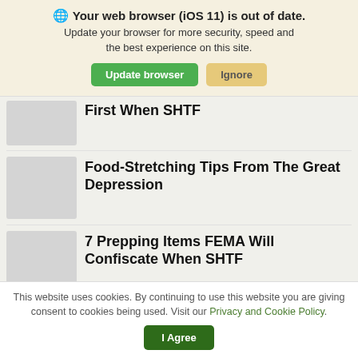🌐 Your web browser (iOS 11) is out of date. Update your browser for more security, speed and the best experience on this site.
First When SHTF
Food-Stretching Tips From The Great Depression
7 Prepping Items FEMA Will Confiscate When SHTF
Better Than Aspirin: The Plant Every
This website uses cookies. By continuing to use this website you are giving consent to cookies being used. Visit our Privacy and Cookie Policy.